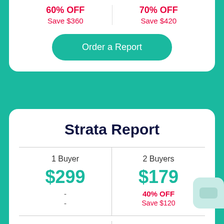60% OFF
Save $360
70% OFF
Save $420
Order a Report
Strata Report
| 1 Buyer | 2 Buyers |
| --- | --- |
| $299 | $179 |
| - | 40% OFF
Save $120 |
| - |  |
3 Buyers
4 Buyers